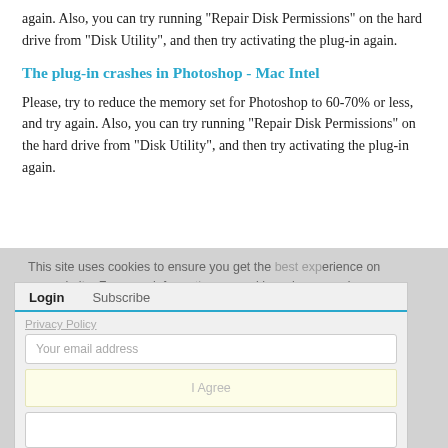again. Also, you can try running "Repair Disk Permissions" on the hard drive from "Disk Utility", and then try activating the plug-in again.
The plug-in crashes in Photoshop - Mac Intel
Please, try to reduce the memory set for Photoshop to 60-70% or less, and try again. Also, you can try running "Repair Disk Permissions" on the hard drive from "Disk Utility", and then try activating the plug-in again.
[Figure (screenshot): Cookie consent and login/subscribe overlay modal with email input, I Agree button area, password field, and Remember me checkbox, overlaid on a gray background.]